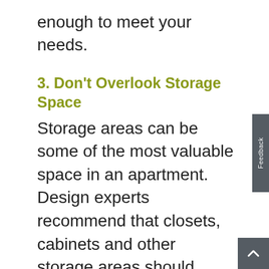enough to meet your needs.
3. Don't Overlook Storage Space
Storage areas can be some of the most valuable space in an apartment. Design experts recommend that closets, cabinets and other storage areas should make up 10 to 15 percent of the square footage.
4. Traffic Control
As you walk around the apartment, think about whether there's a logical flow to